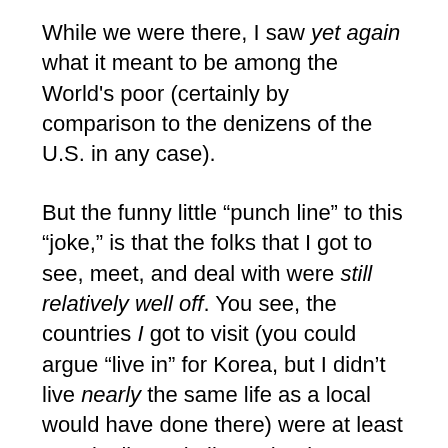While we were there, I saw yet again what it meant to be among the World's poor (certainly by comparison to the denizens of the U.S. in any case).
But the funny little “punch line” to this “joke,” is that the folks that I got to see, meet, and deal with were still relatively well off. You see, the countries I got to visit (you could argue “live in” for Korea, but I didn’t live nearly the same life as a local would have done there) were at least marginally capitalist at the time.
If you compare that to the parts of the World who were under dictatorial regimes, or who were